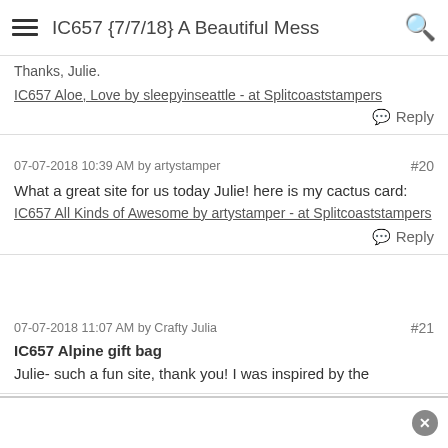IC657 {7/7/18} A Beautiful Mess
IC657 Aloe, Love by sleepyinseattle - at Splitcoaststampers
Reply
07-07-2018 10:39 AM by artystamper  #20
What a great site for us today Julie! here is my cactus card: IC657 All Kinds of Awesome by artystamper - at Splitcoaststampers
Reply
07-07-2018 11:07 AM by Crafty Julia  #21
IC657 Alpine gift bag
Julie- such a fun site, thank you! I was inspired by the